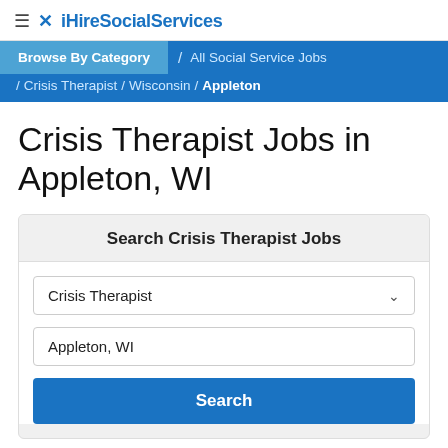☰ ✕ iHireSocialServices
Browse By Category / All Social Service Jobs / Crisis Therapist / Wisconsin / Appleton
Crisis Therapist Jobs in Appleton, WI
Search Crisis Therapist Jobs
Crisis Therapist [dropdown]
Appleton, WI
Search